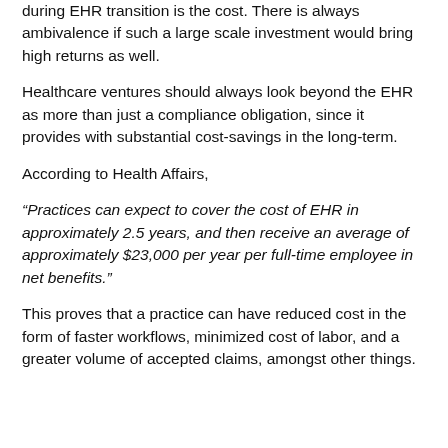during EHR transition is the cost. There is always ambivalence if such a large scale investment would bring high returns as well.
Healthcare ventures should always look beyond the EHR as more than just a compliance obligation, since it provides with substantial cost-savings in the long-term.
According to Health Affairs,
“Practices can expect to cover the cost of EHR in approximately 2.5 years, and then receive an average of approximately $23,000 per year per full-time employee in net benefits.”
This proves that a practice can have reduced cost in the form of faster workflows, minimized cost of labor, and a greater volume of accepted claims, amongst other things.